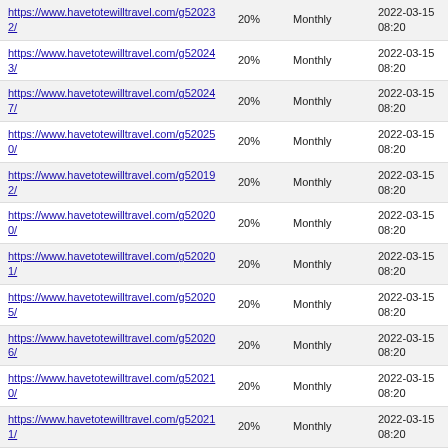| https://www.havetotewilltravel.com/g520232/ | 20% | Monthly | 2022-03-15 08:20 |
| https://www.havetotewilltravel.com/g520243/ | 20% | Monthly | 2022-03-15 08:20 |
| https://www.havetotewilltravel.com/g520247/ | 20% | Monthly | 2022-03-15 08:20 |
| https://www.havetotewilltravel.com/g520250/ | 20% | Monthly | 2022-03-15 08:20 |
| https://www.havetotewilltravel.com/g520192/ | 20% | Monthly | 2022-03-15 08:20 |
| https://www.havetotewilltravel.com/g520200/ | 20% | Monthly | 2022-03-15 08:20 |
| https://www.havetotewilltravel.com/g520201/ | 20% | Monthly | 2022-03-15 08:20 |
| https://www.havetotewilltravel.com/g520205/ | 20% | Monthly | 2022-03-15 08:20 |
| https://www.havetotewilltravel.com/g520206/ | 20% | Monthly | 2022-03-15 08:20 |
| https://www.havetotewilltravel.com/g520210/ | 20% | Monthly | 2022-03-15 08:20 |
| https://www.havetotewilltravel.com/g520211/ | 20% | Monthly | 2022-03-15 08:20 |
| https://www.havetotewilltravel.com/g520212/ | 20% | Monthly | 2022-03-15 08:20 |
| https://www.havetotewilltravel.com/g520213/ | 20% | Monthly | 2022-03-15 08:20 |
| https://www.havetotewilltravel.com/g520214/ | 20% | Monthly | 2022-03-15 08:20 |
| https://www.havetotewilltravel.com/g520174/ | 20% | Monthly | 2022-03-15 08:20 |
| https://www.havetotewilltravel.com/g520175/ | 20% | Monthly | 2022-03-15 08:20 |